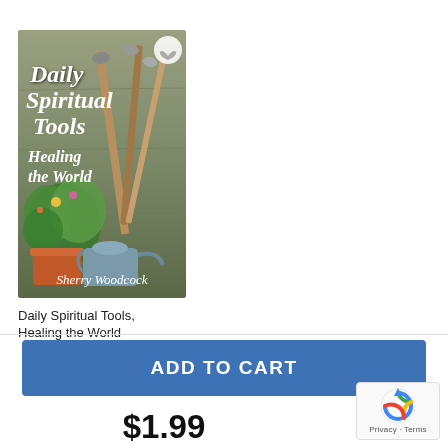[Figure (illustration): Book cover for 'Daily Spiritual Tools, Healing the World' by Sherry Woodcock. Cover shows garden tools (shovels) leaning against a wooden background, with potted plants and a watering can in the foreground. White italic text overlaid on the image. A heart/wishlist icon in the top right corner.]
Daily Spiritual Tools, Healing the World
ADD TO CART
$1.99